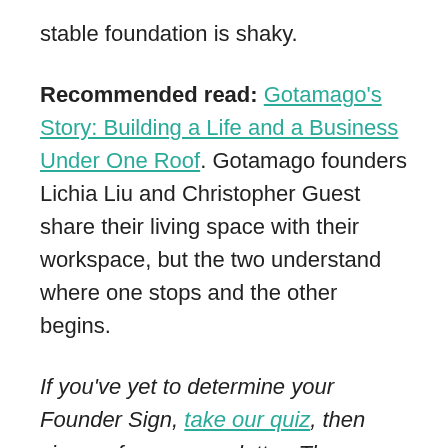stable foundation is shaky.
Recommended read: Gotamago's Story: Building a Life and a Business Under One Roof. Gotamago founders Lichia Liu and Christopher Guest share their living space with their workspace, but the two understand where one stops and the other begins.
If you've yet to determine your Founder Sign, take our quiz, then sign up for our newsletter. The Founder's Zodiac runs every month and offers up advice and relevant content curated just for your type. Next month's theme: community and belonging.